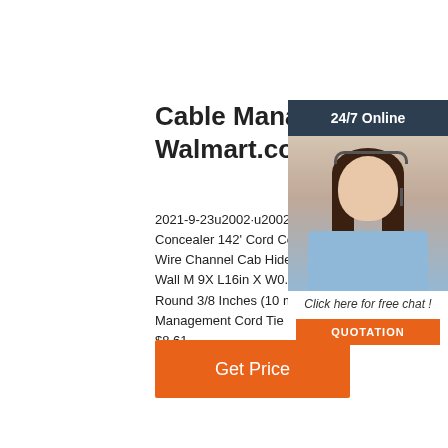Cable Management - Walmart.com
2021-9-23u2002·u2002current price $14.7 Cord Cover Concealer 142' Cord Cover Ki Wire Molding Paintable Wire Channel Cab Hider,Cable Management for Hiding Wall M 9X L16in X W0.5in X 0.3in, White. 2 days. Round 3/8 Inches (10 mm) Cable Wire Cli Cable Management Cord Tie Holder Coax in Clamps Tacks. $8.61.
[Figure (photo): Customer service agent woman with headset, smiling, wearing blue shirt. Dark background with '24/7 Online' banner at top and 'Click here for free chat!' text with orange QUOTATION button at bottom.]
Get Price